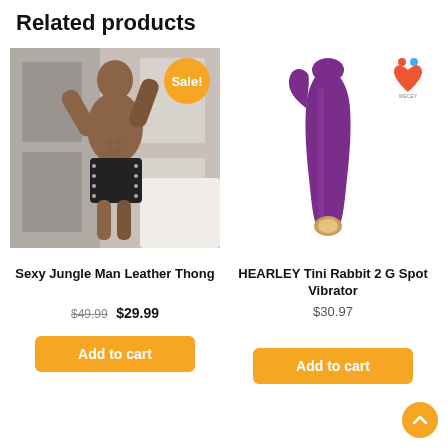Related products
[Figure (photo): Man wearing black leather thong shorts with studs, shirtless, arms raised. Sale! badge (orange circle) on image.]
Sexy Jungle Man Leather Thong
$49.99  $29.99
Add to cart
[Figure (photo): Purple rabbit vibrator product image on white background with brand logo (heart icon) in top right.]
HEARLEY Tini Rabbit 2 G Spot Vibrator
$30.97
Add to cart